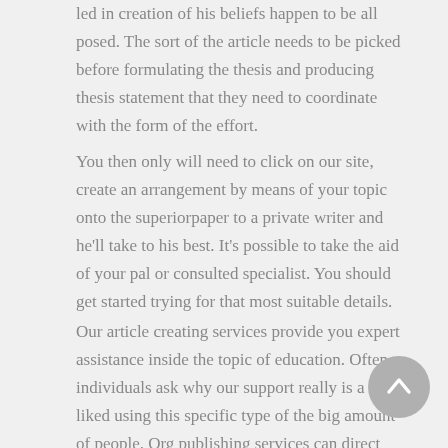led in creation of his beliefs happen to be all posed. The sort of the article needs to be picked before formulating the thesis and producing thesis statement that they need to coordinate with the form of the effort.
You then only will need to click on our site, create an arrangement by means of your topic onto the superiorpaper to a private writer and he'll take to his best. It's possible to take the aid of your pal or consulted specialist. You should get started trying for that most suitable details.
Our article creating services provide you expert assistance inside the topic of education. Often individuals ask why our support really is a well liked using this specific type of the big amount of people. Org publishing services can direct the students to acquire supreme superior medicine personalized declaration and as attract on the